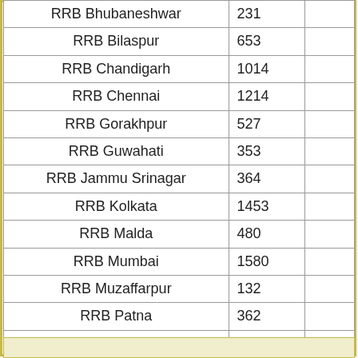| RRB | Count |  |
| --- | --- | --- |
| RRB Bhubaneshwar | 231 |  |
| RRB Bilaspur | 653 |  |
| RRB Chandigarh | 1014 |  |
| RRB Chennai | 1214 |  |
| RRB Gorakhpur | 527 |  |
| RRB Guwahati | 353 |  |
| RRB Jammu Srinagar | 364 |  |
| RRB Kolkata | 1453 |  |
| RRB Malda | 480 |  |
| RRB Mumbai | 1580 |  |
| RRB Muzaffarpur | 132 |  |
| RRB Patna | 362 |  |
| RRB Ranchi | 248 |  |
| RRB Secunderabad | 1325 |  |
| RRB Siliguri | 178 |  |
| RRB Thrivandrum | 377 |  |